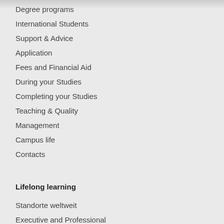Degree programs
International Students
Support & Advice
Application
Fees and Financial Aid
During your Studies
Completing your Studies
Teaching & Quality
Management
Campus life
Contacts
Lifelong learning
Standorte weltweit
Executive and Professional
Education
All employees from TUM
Scientific staff members
Research and Science